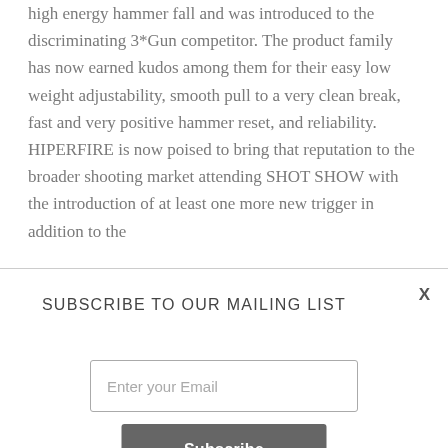high energy hammer fall and was introduced to the discriminating 3*Gun competitor. The product family has now earned kudos among them for their easy low weight adjustability, smooth pull to a very clean break, fast and very positive hammer reset, and reliability. HIPERFIRE is now poised to bring that reputation to the broader shooting market attending SHOT SHOW with the introduction of at least one more new trigger in addition to the
SUBSCRIBE TO OUR MAILING LIST
Enter your Email
Subscribe